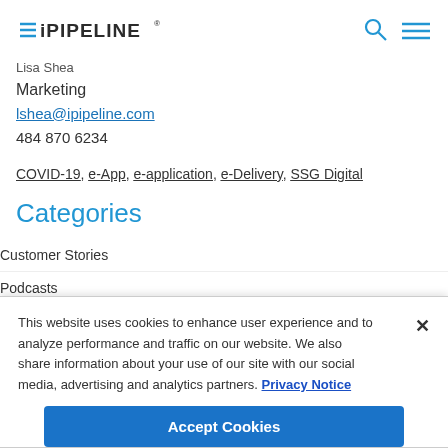iPipeline logo, search icon, menu icon
Lisa Shea
Marketing
lshea@ipipeline.com
484 870 6234
COVID-19, e-App, e-application, e-Delivery, SSG Digital
Categories
Customer Stories
Podcasts
This website uses cookies to enhance user experience and to analyze performance and traffic on our website. We also share information about your use of our site with our social media, advertising and analytics partners. Privacy Notice
Accept Cookies